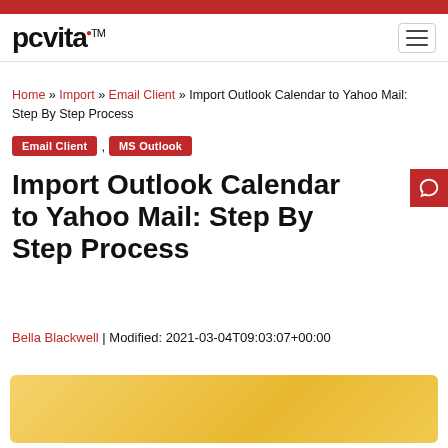pcvita™ [navigation header with hamburger menu]
Home » Import » Email Client » Import Outlook Calendar to Yahoo Mail: Step By Step Process
Email Client , MS Outlook
Import Outlook Calendar to Yahoo Mail: Step By Step Process
Bella Blackwell | Modified: 2021-03-04T09:03:07+00:00
[Figure (photo): Yellow/gold gradient hero image at the bottom of the page]